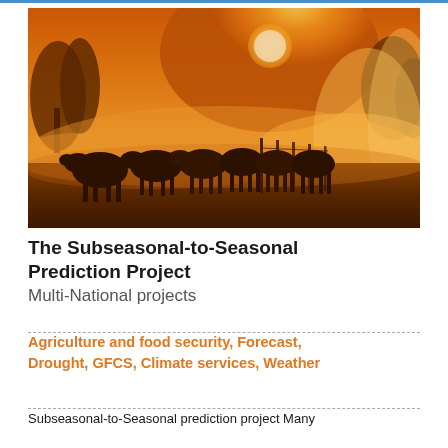[Figure (photo): A herd of cattle silhouetted against a vivid orange and golden sunset sky with misty fog surrounding them in a field, with trees visible in the background.]
The Subseasonal-to-Seasonal Prediction Project
Multi-National projects
Agriculture and food security, Forecast, Drought, GFCS, Climate services, Weather
Subseasonal-to-Seasonal prediction project Many